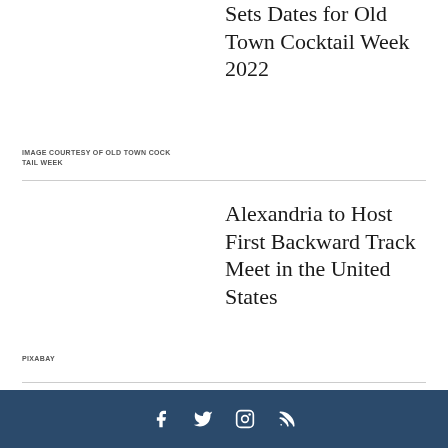Sets Dates for Old Town Cocktail Week 2022
IMAGE COURTESY OF OLD TOWN COCKTAIL WEEK
Alexandria to Host First Backward Track Meet in the United States
PIXABAY
Social media icons: Facebook, Twitter, Instagram, RSS